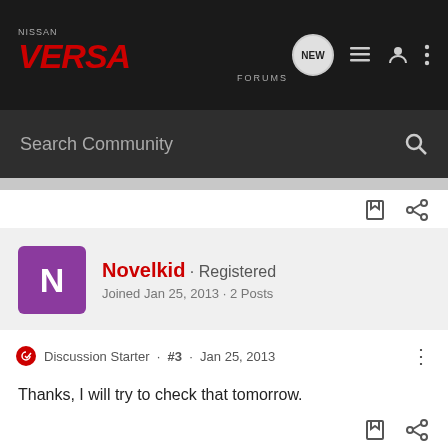NISSAN VERSA FORUMS
Search Community
Novelkid · Registered
Joined Jan 25, 2013 · 2 Posts
Discussion Starter · #3 · Jan 25, 2013
Thanks, I will try to check that tomorrow.

Is it pretty easy to get to or does the dash have to be taken out?